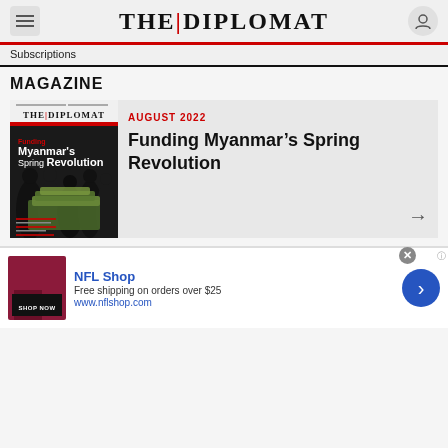THE | DIPLOMAT
Subscriptions
MAGAZINE
[Figure (illustration): The Diplomat magazine cover for August 2022 showing silhouettes of people and stacks of currency with text 'Funding Myanmar's Spring Revolution']
AUGUST 2022
Funding Myanmar’s Spring Revolution
[Figure (illustration): NFL Shop advertisement with dark red product image, text 'NFL Shop - Free shipping on orders over $25 - www.nflshop.com', a SHOP NOW button, and a blue circular arrow button]